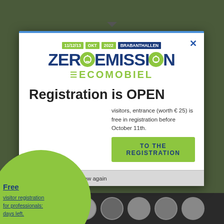[Figure (screenshot): ZeroEmission Ecomobiel event modal popup on a dark webpage background. The modal shows the event logo with date 11/12/13 OKT 2022 BRABANTHALLEN, the text 'Registration is OPEN', body text about free visitor registration, a green CTA button 'TO THE REGISTRATION', a green circle overlay with links, and a bottom bar with close X and Don't show again checkbox.]
Registration is OPEN
visitors, entrance (worth € 25) is free in registration before October 11th.
Free
visitor registration for professionals:
days left.
close X
Don't show again